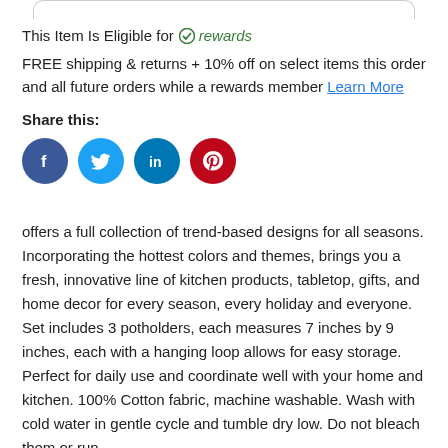This Item Is Eligible for ✓ rewards
FREE shipping & returns + 10% off on select items this order and all future orders while a rewards member Learn More
Share this:
[Figure (other): Four social media share buttons: Facebook (blue circle), Twitter (light blue circle), LinkedIn (blue circle), Pinterest (red circle)]
offers a full collection of trend-based designs for all seasons. Incorporating the hottest colors and themes, brings you a fresh, innovative line of kitchen products, tabletop, gifts, and home decor for every season, every holiday and everyone. Set includes 3 potholders, each measures 7 inches by 9 inches, each with a hanging loop allows for easy storage. Perfect for daily use and coordinate well with your home and kitchen. 100% Cotton fabric, machine washable. Wash with cold water in gentle cycle and tumble dry low. Do not bleach them or run